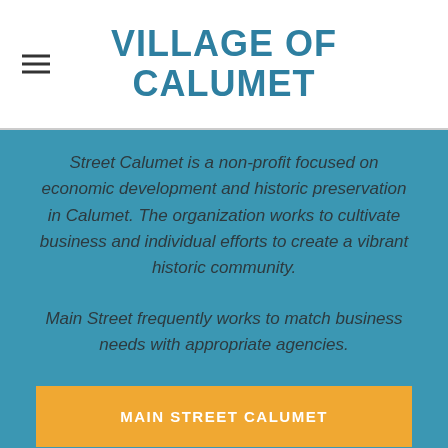VILLAGE OF CALUMET
Street Calumet is a non-profit focused on economic development and historic preservation in Calumet. The organization works to cultivate business and individual efforts to create a vibrant historic community.
Main Street frequently works to match business needs with appropriate agencies.
MAIN STREET CALUMET
MORE TOOLS!